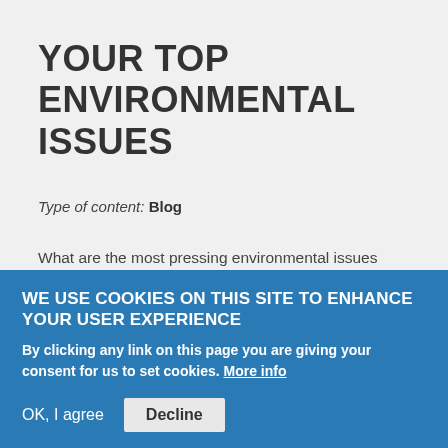YOUR TOP ENVIRONMENTAL ISSUES
Type of content: Blog
What are the most pressing environmental issues today? We asked this question to Island Press readers in our most recent newsletter. More than 60 of you responded, and we are excited to share your thoughtful answers here. You can access a PDF version of...
WE USE COOKIES ON THIS SITE TO ENHANCE YOUR USER EXPERIENCE
By clicking any link on this page you are giving your consent for us to set cookies. More info
OK, I agree
Decline